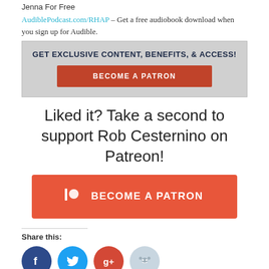Jenna For Free
AudiblePodcast.com/RHAP – Get a free audiobook download when you sign up for Audible.
[Figure (infographic): Grey banner with bold dark navy text 'GET EXCLUSIVE CONTENT, BENEFITS, & ACCESS!' and a dark red button labeled 'BECOME A PATRON']
Liked it? Take a second to support Rob Cesternino on Patreon!
[Figure (infographic): Orange-red Patreon button with Patreon logo icon and text 'BECOME A PATRON']
Share this:
[Figure (infographic): Social media share icons: Facebook (dark blue), Twitter (light blue), Google+ (red), Reddit (light blue-grey)]